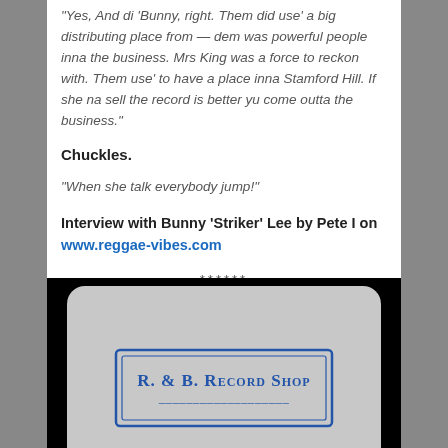“Yes, And di ‘Bunny, right. Them did use’ a big distributing place from — dem was powerful people inna the business. Mrs King was a force to reckon with. Them use’ to have a place inna Stamford Hill. If she na sell the record is better yu come outta the business.”
Chuckles.
“When she talk everybody jump!”
Interview with Bunny ‘Striker’ Lee by Pete I on www.reggae-vibes.com
******
[Figure (photo): Photograph of a paper bag or sleeve with a blue stamp/logo reading R. & B. Record Shop on a light grey background, set against a black background.]